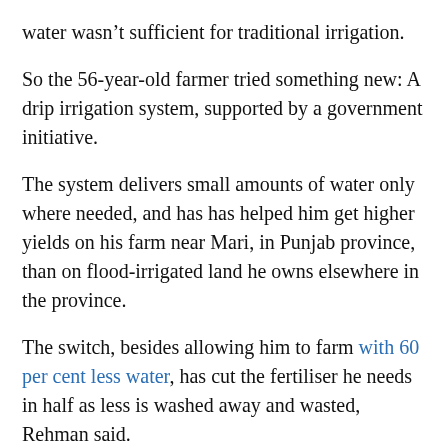water wasn't sufficient for traditional irrigation.
So the 56-year-old farmer tried something new: A drip irrigation system, supported by a government initiative.
The system delivers small amounts of water only where needed, and has has helped him get higher yields on his farm near Mari, in Punjab province, than on flood-irrigated land he owns elsewhere in the province.
The switch, besides allowing him to farm with 60 per cent less water, has cut the fertiliser he needs in half as less is washed away and wasted, Rehman said.
“Drip irrigation has come as a divine help to me in this arid area,” he said, sitting in a shed on his farm.
Rehman is among a growing number of Pakistani farmers who are turning to water-saving drip irrigation